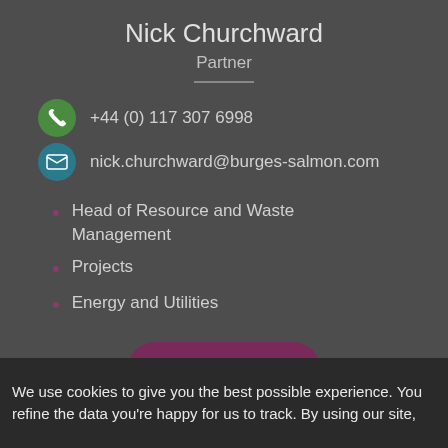Nick Churchward
Partner
+44 (0) 117 307 6998
nick.churchward@burges-salmon.com
Head of Resource and Waste Management
Projects
Energy and Utilities
View profile
We use cookies to give you the best possible experience. You refine the data you're happy for us to track. By using our site,